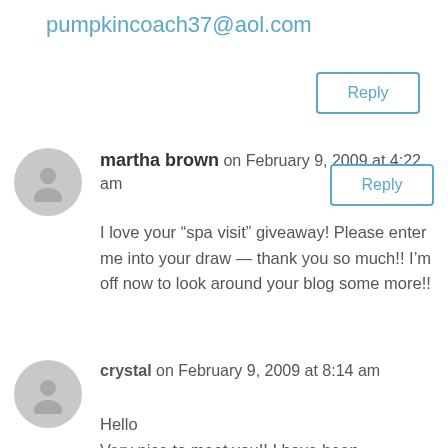pumpkincoach37@aol.com
Reply
martha brown on February 9, 2009 at 4:22 am
I love your “spa visit” giveaway! Please enter me into your draw — thank you so much!! I’m off now to look around your blog some more!!
Reply
crystal on February 9, 2009 at 8:14 am
Hello
Very nice to meet you!! I have been